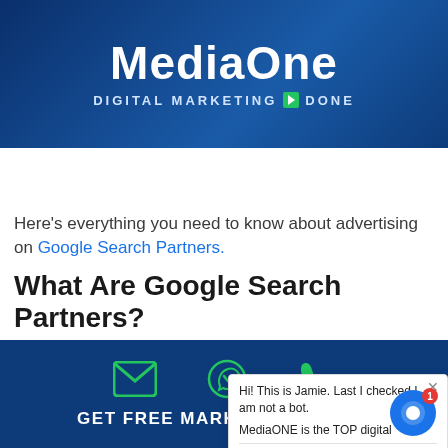[Figure (screenshot): MediaOne website header banner with logo 'MediaOne' and tagline 'DIGITAL MARKETING DONE' on a dark blue background]
MediaOne DIGITAL MARKETING DONE — Navigation: SEO | SEM | SMM | 70% GOVT GRANT
Here's everything you need to know about advertising on Google Search Partners.
What Are Google Search Partners?
Google search partner sites are third-party websites and apps integrated with Google's network. They host Google ads and earn a commission on any clicks or impressions they generate.
GET FREE MARKETING QUOTE